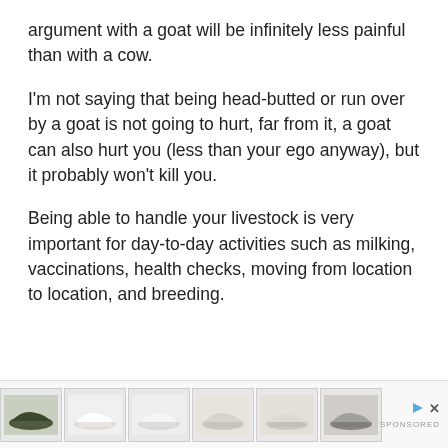argument with a goat will be infinitely less painful than with a cow.
I'm not saying that being head-butted or run over by a goat is not going to hurt, far from it, a goat can also hurt you (less than your ego anyway), but it probably won't kill you.
Being able to handle your livestock is very important for day-to-day activities such as milking, vaccinations, health checks, moving from location to location, and breeding.
[Figure (other): Advertisement banner showing six sneaker/shoe images in a row with a play button and close (X) button on the right side, and a brand logo.]